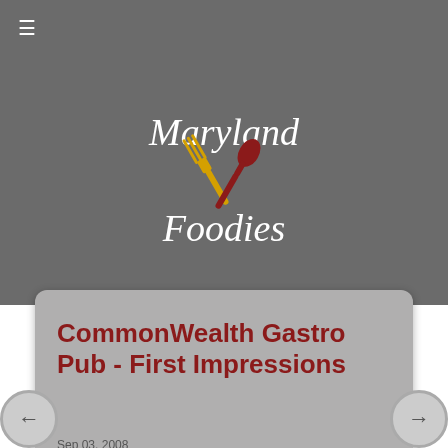≡
[Figure (logo): Maryland Foodies logo with crossed fork (gold) and spoon (dark red) icon, text 'Maryland Foodies' in italic white serif font]
CommonWealth Gastro Pub - First Impressions
Sep 03, 2008
[Figure (photo): Photo of food dish in a bowl at CommonWealth Gastro Pub]
About one month ago, Jamie Leeds and